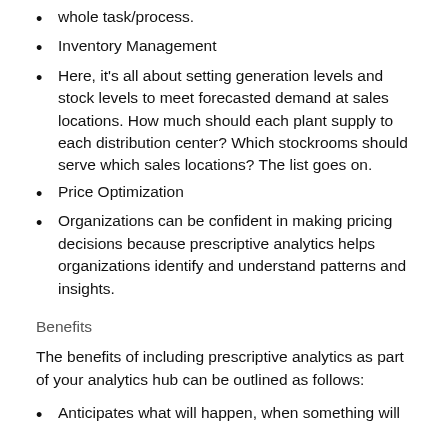whole task/process.
Inventory Management
Here, it's all about setting generation levels and stock levels to meet forecasted demand at sales locations. How much should each plant supply to each distribution center? Which stockrooms should serve which sales locations? The list goes on.
Price Optimization
Organizations can be confident in making pricing decisions because prescriptive analytics helps organizations identify and understand patterns and insights.
Benefits
The benefits of including prescriptive analytics as part of your analytics hub can be outlined as follows:
Anticipates what will happen, when something will